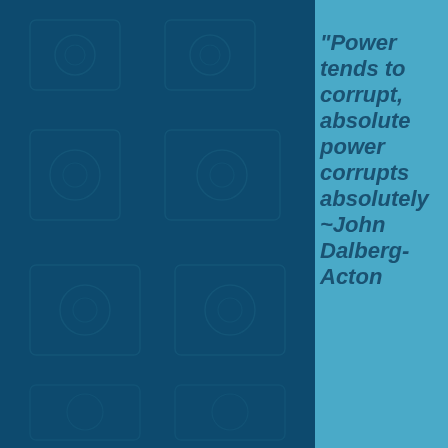[Figure (illustration): Dark teal/navy background on left two-thirds of page with a 3x4 grid of faint darker square icon placeholders (camera/photo icons barely visible). Right third is a lighter sky blue panel.]
“Power tends to corrupt, absolute power corrupts absolutely ~John Dalberg-Acton